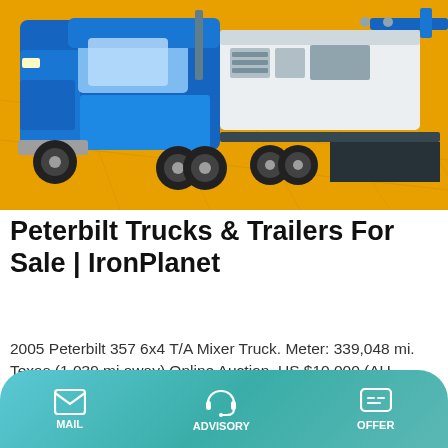[Figure (photo): Blue Peterbilt truck with a white trailer/boom equipment on an orange/yellow floor background]
Peterbilt Trucks & Trailers For Sale | IronPlanet
2005 Peterbilt 357 6x4 T/A Mixer Truck. Meter: 339,048 mi. Texas (1,039 mi away) Online Auction. US $10,000 (AU $13,449) 29 Jul. With IronClad Assurance. Quick View. Terex BT4792 47,000 lb Straight Boom on 2001 Peterbilt 330 6x4 T/A Truck. Meter: 159,874 mi. Nevada (1,525 mi away) Current High Offer. US $64,000 (AU $86,077) Watching. Add to
Learn More
MAIL  ADVISORY  OFFER